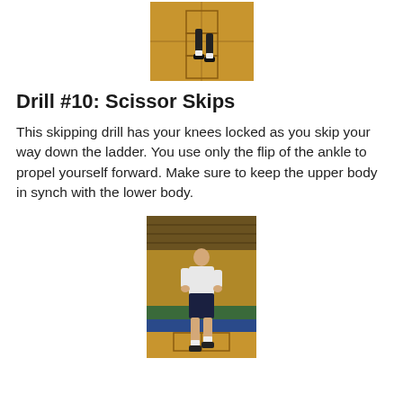[Figure (photo): Top portion of a person doing a skipping drill on a gym floor with agility ladder, viewed from waist down showing legs and feet.]
Drill #10: Scissor Skips
This skipping drill has your knees locked as you skip your way down the ladder. You use only the flip of the ankle to propel yourself forward. Make sure to keep the upper body in synch with the lower body.
[Figure (photo): A person in white t-shirt and dark shorts performing scissor skips on a gym floor with agility ladder.]